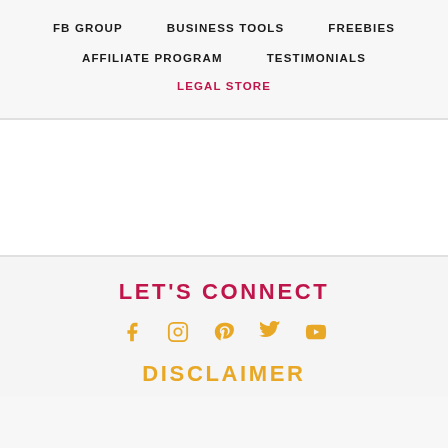FB GROUP
BUSINESS TOOLS
FREEBIES
AFFILIATE PROGRAM
TESTIMONIALS
LEGAL STORE
LET'S CONNECT
[Figure (infographic): Social media icons: Facebook, Instagram, Pinterest, Twitter, YouTube in golden/orange color]
DISCLAIMER